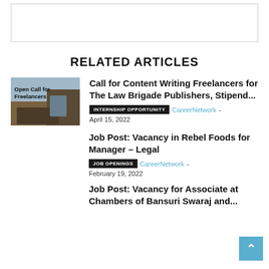[Figure (other): Top banner placeholder rectangle with border]
RELATED ARTICLES
[Figure (photo): Photo showing text 'Open Call for Freelancers' with hands on laptop keyboard and a coffee mug]
Call for Content Writing Freelancers for The Law Brigade Publishers, Stipend...
INTERNSHIP OPPORTUNITY   CareerNetwork - April 15, 2022
Job Post: Vacancy in Rebel Foods for Manager – Legal
JOB OPENINGS   CareerNetwork - February 19, 2022
Job Post: Vacancy for Associate at Chambers of Bansuri Swaraj and...